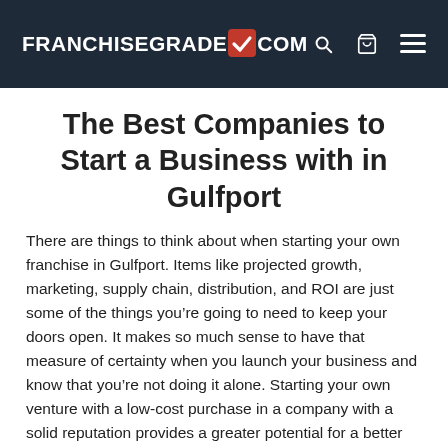FRANCHISEGRADE✓COM
The Best Companies to Start a Business with in Gulfport
There are things to think about when starting your own franchise in Gulfport. Items like projected growth, marketing, supply chain, distribution, and ROI are just some of the things you're going to need to keep your doors open. It makes so much sense to have that measure of certainty when you launch your business and know that you're not doing it alone. Starting your own venture with a low-cost purchase in a company with a solid reputation provides a greater potential for a better return on investment. Being able to launch your venture with an existing clientele and